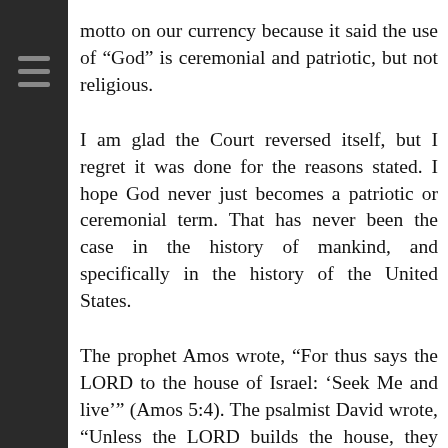motto on our currency because it said the use of “God” is ceremonial and patriotic, but not religious.
I am glad the Court reversed itself, but I regret it was done for the reasons stated. I hope God never just becomes a patriotic or ceremonial term. That has never been the case in the history of mankind, and specifically in the history of the United States.
The prophet Amos wrote, “For thus says the LORD to the house of Israel: ‘Seek Me and live’” (Amos 5:4). The psalmist David wrote, “Unless the LORD builds the house, they labor in vain who build it; unless the LORD guards the city, the watchman keeps awake in vain” (Psalm